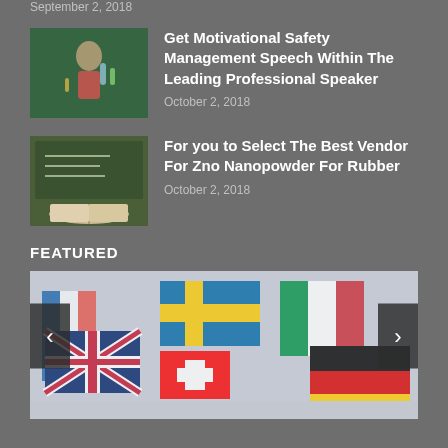September 2, 2018
[Figure (photo): Child doing science experiment with test tubes]
Get Motivational Safety Management Speech Within The Leading Professional Speaker
October 2, 2018
[Figure (photo): Books on a desk in front of a chalkboard]
For you to Select The Best Vendor For Zno Nanopowder For Rubber
October 2, 2018
FEATURED
[Figure (photo): Collection of international flags including UK, Switzerland, Germany, France, Sweden, Italy]